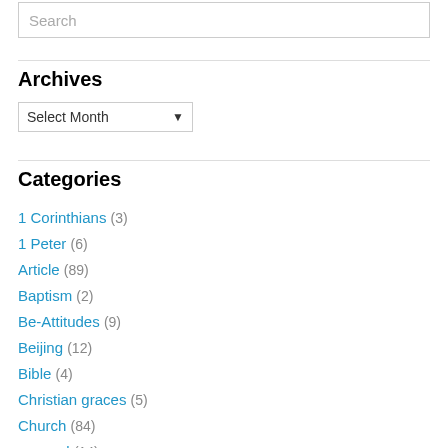Search
Archives
Select Month
Categories
1 Corinthians (3)
1 Peter (6)
Article (89)
Baptism (2)
Be-Attitudes (9)
Beijing (12)
Bible (4)
Christian graces (5)
Church (84)
counsel (14)